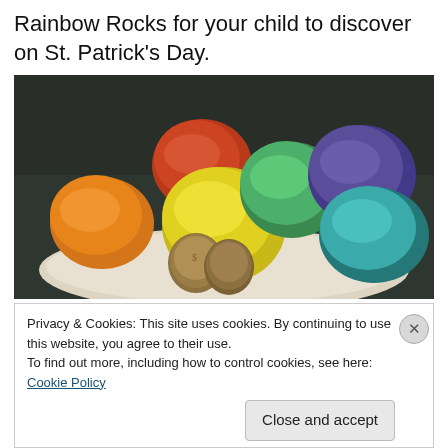Rainbow Rocks for your child to discover on St. Patrick's Day.
[Figure (photo): A white plate with six colorful dough/sugar rock balls arranged in an arc — orange, red, yellow, green, purple, and teal/cyan — with two gold coins placed in front of the yellow rock in the center.]
Privacy & Cookies: This site uses cookies. By continuing to use this website, you agree to their use.
To find out more, including how to control cookies, see here: Cookie Policy
Close and accept